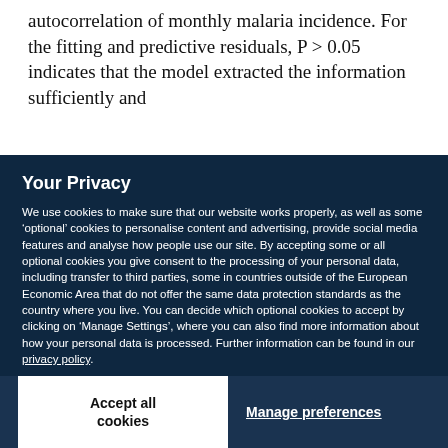autocorrelation of monthly malaria incidence. For the fitting and predictive residuals, P > 0.05 indicates that the model extracted the information sufficiently and
Your Privacy
We use cookies to make sure that our website works properly, as well as some ‘optional’ cookies to personalise content and advertising, provide social media features and analyse how people use our site. By accepting some or all optional cookies you give consent to the processing of your personal data, including transfer to third parties, some in countries outside of the European Economic Area that do not offer the same data protection standards as the country where you live. You can decide which optional cookies to accept by clicking on ‘Manage Settings’, where you can also find more information about how your personal data is processed. Further information can be found in our privacy policy.
Accept all cookies
Manage preferences